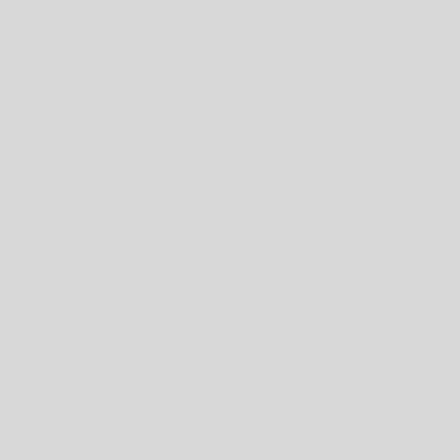such assembly; and should atten deliberation.
Beside the knowledge peculiar to circle of polite literature. Poetry or pleasing illusions. History ma characters, and of the course of h even in subjects not immediately disadvantages, and give his rival
To every one who wishes to e recommended. Without this, it is pleader, or preacher, or speaker i is not obly necessary to every va every pleasure, without which, li attainments, and to the real and s from indolence and dissipation. for that art; which, firing his mi This was the characteristic of the iniitate them. This honourable en youth, manhood will flag exceed
Attention to the best models, co one, indeed, should endeavour to distinguish his style. Genius is c